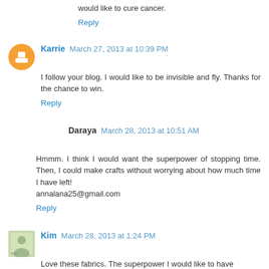would like to cure cancer.
Reply
Karrie March 27, 2013 at 10:39 PM
I follow your blog. I would like to be invisible and fly. Thanks for the chance to win.
Reply
Daraya March 28, 2013 at 10:51 AM
Hmmm. I think I would want the superpower of stopping time. Then, I could make crafts without worrying about how much time I have left!
annalana25@gmail.com
Reply
Kim March 28, 2013 at 1:24 PM
Love these fabrics. The superpower I would like to have